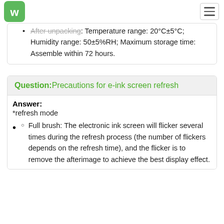WA logo and hamburger menu
After unpacking: Temperature range: 20°C±5°C; Humidity range: 50±5%RH; Maximum storage time: Assemble within 72 hours.
Question: Precautions for e-ink screen refresh
Answer:
*refresh mode
Full brush: The electronic ink screen will flicker several times during the refresh process (the number of flickers depends on the refresh time), and the flicker is to remove the afterimage to achieve the best display effect.